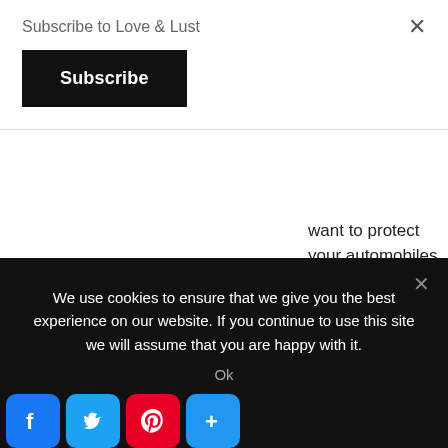Subscribe to Love & Lust
Subscribe
want to protect your automobiles on the highway and at the job web site.
Reply
tinyurl.com
We use cookies to ensure that we give you the best experience on our website. If you continue to use this site we will assume that you are happy with it.
Ok